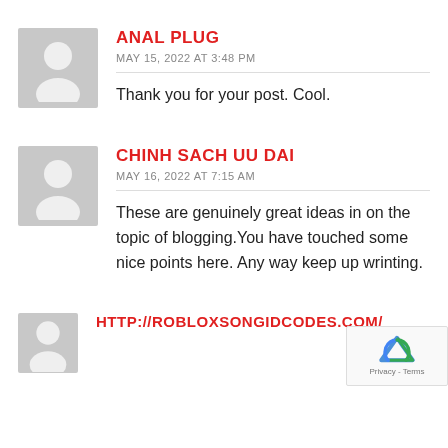[Figure (illustration): Gray placeholder avatar icon with person silhouette]
ANAL PLUG
MAY 15, 2022 AT 3:48 PM
Thank you for your post. Cool.
[Figure (illustration): Gray placeholder avatar icon with person silhouette]
CHINH SACH UU DAI
MAY 16, 2022 AT 7:15 AM
These are genuinely great ideas in on the topic of blogging.You have touched some nice points here. Any way keep up wrinting.
[Figure (illustration): Gray placeholder avatar icon with person silhouette]
HTTP://ROBLOXSONGIDCODES.COM/